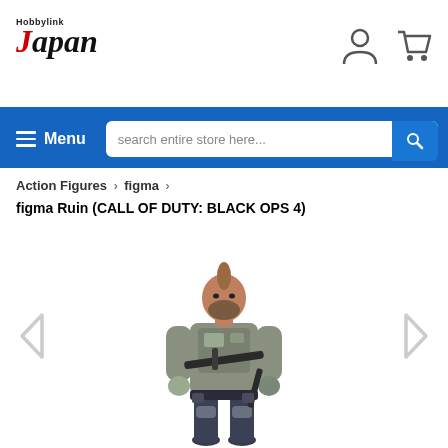HobbyLink Japan
Menu  search entire store here...
Action Figures > figma >
figma Ruin (CALL OF DUTY: BLACK OPS 4)
[Figure (photo): Action figure of Ruin from Call of Duty: Black Ops 4, a heavily armed male soldier figure with a mohawk hairstyle and beard, wearing military tactical gear and holding weapons, standing in a neutral pose against a white background.]